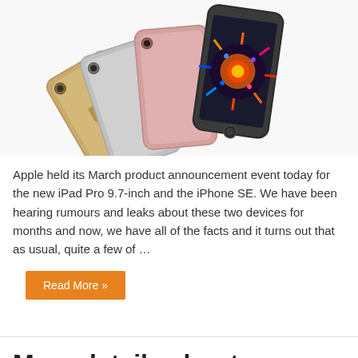[Figure (photo): Four iPhone SE models in different colors (gold, silver, rose gold, space gray) fanned out, showing front and back views]
Apple held its March product announcement event today for the new iPad Pro 9.7-inch and the iPhone SE. We have been hearing rumours and leaks about these two devices for months and now, we have all of the facts and it turns out that as usual, quite a few of …
Read More »
More details about upcoming iPhone SE leak online
March 18, 2016   Apple
[Figure (photo): Partial view of iPhone SE models at the bottom of the page]